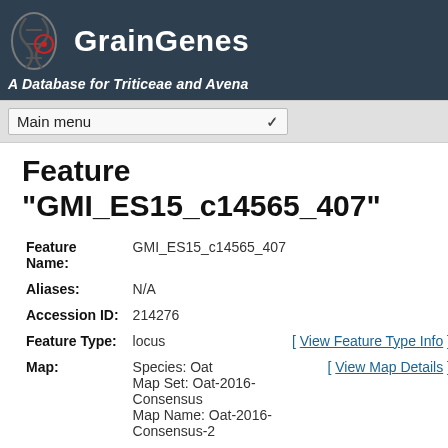GrainGenes — A Database for Triticeae and Avena
Feature "GMI_ES15_c14565_407"
| Field | Value | Action |
| --- | --- | --- |
| Feature Name: | GMI_ES15_c14565_407 |  |
| Aliases: | N/A |  |
| Accession ID: | 214276 |  |
| Feature Type: | locus | [ View Feature Type Info ] |
| Map: | Species: Oat
Map Set: Oat-2016-Consensus
Map Name: Oat-2016-Consensus-2 | [ View Map Details ] |
| Start: | 51.3 |  |